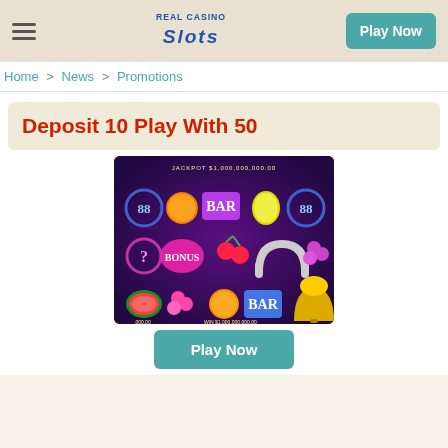Real Casino Slots — Play Now
Home > News > Promotions
Deposit 10 Play With 50
[Figure (screenshot): Casino slot machine game screenshot showing neon-themed slot symbols including 88, orange, BAR, lemon, question mark, BONUS, cherry, horseshoe, grapes, watermelon on a purple background with jackpot text at top]
Play Now